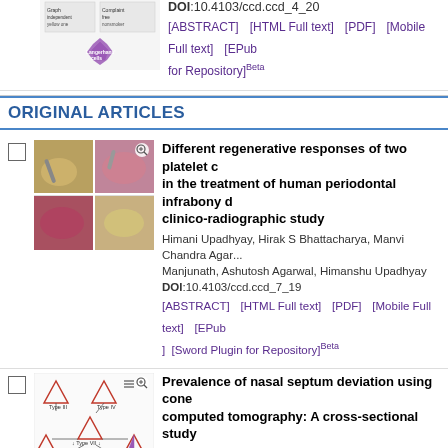DOI:10.4103/ccd.ccd_4_20
[ABSTRACT]  [HTML Full text]  [PDF]  [Mobile Full text]  [EPub...for Repository]Beta
ORIGINAL ARTICLES
[Figure (photo): Dental clinical photos showing periodontal treatment]
Different regenerative responses of two platelet c... in the treatment of human periodontal infrabony d... clinico-radiographic study
Himani Upadhyay, Hirak S Bhattacharya, Manvi Chandra Agaru... Manjunath, Ashutosh Agarwal, Himanshu Upadhyay
DOI:10.4103/ccd.ccd_7_19
[ABSTRACT]  [HTML Full text]  [PDF]  [Mobile Full text]  [EPub...]  [Sword Plugin for Repository]Beta
[Figure (illustration): Diagram showing different nasal septum deviation types (triangles labeled Type III, IV, VII, V, I, VI)]
Prevalence of nasal septum deviation using cone... computed tomography: A cross-sectional study
Mahkameh Moshfeghi, Bahareh Abedian, Mitra Ghazizadeh Ah... Tajdini
DOI:10.4103/ccd.ccd_110_19
[ABSTRACT]  [HTML Full text]  [PDF]  [Mobile Full text]  [EPub...for Repository]Beta
[Figure (photo): Implant abutment materials photo]
Comparative evaluation of the wear resistance of... implant abutment materials after cyclic loading –...